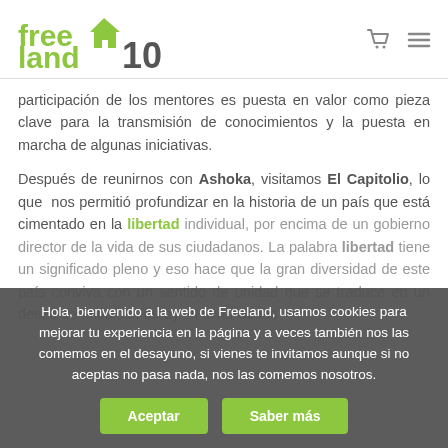[Figure (logo): Freeland10 logo with green stylized text and house icon, followed by cart and menu icons in header]
participación de los mentores es puesta en valor como pieza clave para la transmisión de conocimientos y la puesta en marcha de algunas iniciativas.
Después de reunirnos con Ashoka, visitamos El Capitolio, lo que nos permitió profundizar en la historia de un país que está cimentado en la libertad individual, por encima de un gobierno director de la vida de sus ciudadanos. La palabra libertad tiene un significado pleno y eso hace que la gran diversidad de este país conviva con un sentido de unidad que se traduce en un deseo de impulsar, de ay... n favor de los
Hola, bienvenido a la web de Freeland, usamos cookies para mejorar tu experiencia en la página y a veces también nos las comemos en el desayuno, si vienes te invitamos aunque si no aceptas no pasa nada, nos las comemos nosotros.